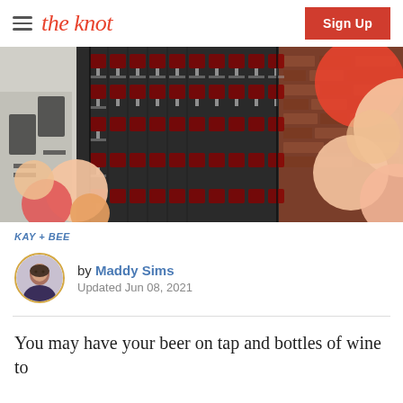the knot | Sign Up
[Figure (photo): A wall display with rows of wine glasses filled with red wine, flanked by pink, peach, and red balloons on both sides. Black chairs visible on the left, brick wall on the right.]
KAY + BEE
by Maddy Sims
Updated Jun 08, 2021
You may have your beer on tap and bottles of wine to